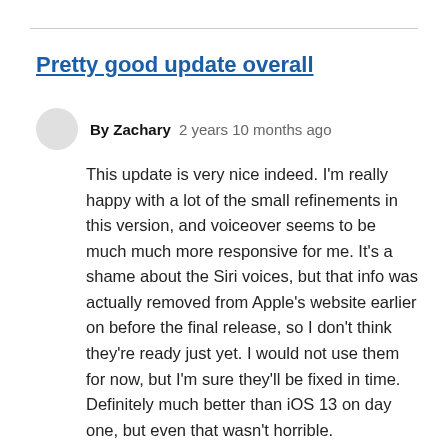Pretty good update overall
By Zachary   2 years 10 months ago
This update is very nice indeed. I'm really happy with a lot of the small refinements in this version, and voiceover seems to be much much more responsive for me. It's a shame about the Siri voices, but that info was actually removed from Apple's website earlier on before the final release, so I don't think they're ready just yet. I would not use them for now, but I'm sure they'll be fixed in time. Definitely much better than iOS 13 on day one, but even that wasn't horrible.